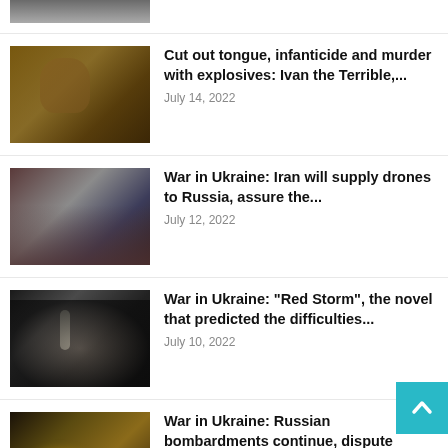[Figure (photo): Partial image at top of feed, appears to show a war/conflict scene]
[Figure (photo): Portrait painting of Ivan the Terrible]
Cut out tongue, infanticide and murder with explosives: Ivan the Terrible,...
July 14, 2022
[Figure (photo): Photo of three world leaders seated at a table, including Putin and Erdogan]
War in Ukraine: Iran will supply drones to Russia, assure the...
July 12, 2022
[Figure (photo): Dramatic image with light rays and a figure, representing Red Storm novel]
War in Ukraine: “Red Storm”, the novel that predicted the difficulties...
July 10, 2022
[Figure (photo): Military artillery firing, with flames and smoke]
War in Ukraine: Russian bombardments continue, dispute between Kyiv and Berlin